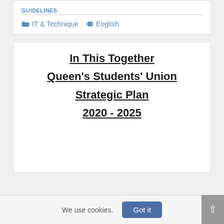GUIDELINES
IT & Technique   English
[Figure (other): Cover page thumbnail of document titled 'In This Together Queen's Students' Union Strategic Plan 2020 - 2025']
We use cookies.
Got it